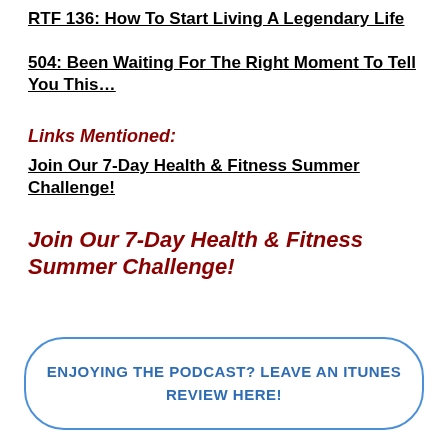RTF 136: How To Start Living A Legendary Life
504: Been Waiting For The Right Moment To Tell You This…
Links Mentioned:
Join Our 7-Day Health & Fitness Summer Challenge!
Join Our 7-Day Health & Fitness Summer Challenge!
ENJOYING THE PODCAST? LEAVE AN ITUNES REVIEW HERE!